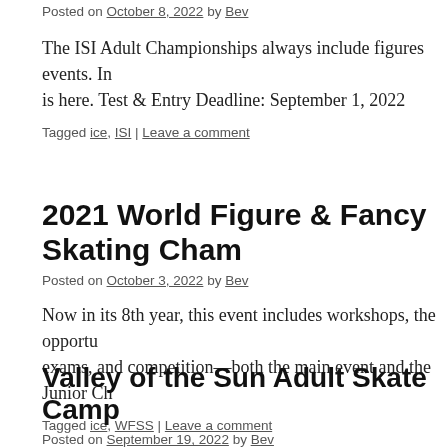Posted on October 8, 2022 by Bev
The ISI Adult Championships always include figures events. Information is here. Test & Entry Deadline: September 1, 2022
Tagged ice, ISI | Leave a comment
2021 World Figure & Fancy Skating Championships
Posted on October 3, 2022 by Bev
Now in its 8th year, this event includes workshops, the opportunity for exams, and competition—both the main event and the Junior Ch…
Tagged ice, WFSS | Leave a comment
Valley of the Sun Adult Skate Camp
Posted on September 19, 2022 by Bev
This skating program includes daily patch sessions. It's for adul…